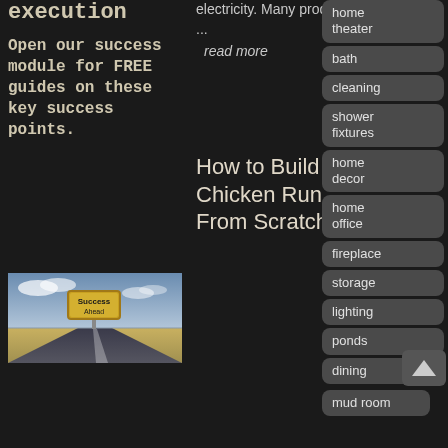execution
Open our success module for FREE guides on these key success points.
electricity. Many products, ...
read more
How to Build a Chicken Run From Scratch
[Figure (photo): Road leading into distance with a yellow 'Success Ahead' road sign]
home theater
bath
cleaning
shower fixtures
home decor
home office
fireplace
storage
lighting
ponds
dining
mud room
sofa